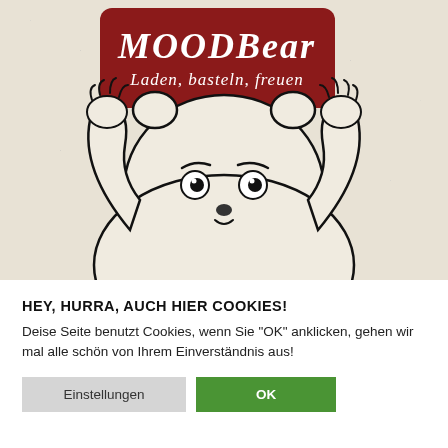[Figure (illustration): MoodBear website screenshot: illustration of a cartoon bear with wide eyes and raised hands/paws, on a cream/beige textured background. In the upper left, a dark red rounded rectangle logo reads 'MOODBear' in white hand-drawn lettering, with tagline 'Laden, basteln, freuen' below it.]
HEY, HURRA, AUCH HIER COOKIES!
Deise Seite benutzt Cookies, wenn Sie "OK" anklicken, gehen wir mal alle schön von Ihrem Einverständnis aus!
Einstellungen
OK